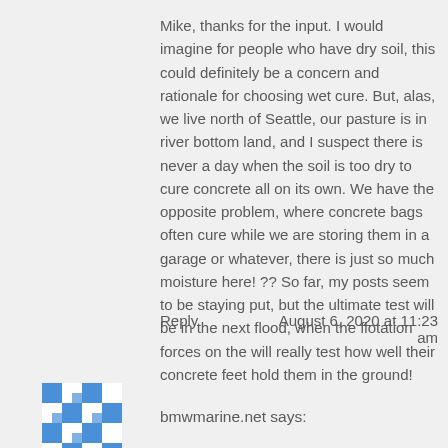Mike, thanks for the input. I would imagine for people who have dry soil, this could definitely be a concern and rationale for choosing wet cure. But, alas, we live north of Seattle, our pasture is in river bottom land, and I suspect there is never a day when the soil is too dry to cure concrete all on its own. We have the opposite problem, where concrete bags often cure while we are storing them in a garage or whatever, there is just so much moisture here! ?? So far, my posts seem to be staying put, but the ultimate test will be in the next flood, when the flotation forces on the will really test how well their concrete feet hold them in the ground!
Reply
August 6, 2020 at 11:23 am
[Figure (illustration): Small avatar/icon image with blue and white geometric pattern]
bmwmarine.net says: